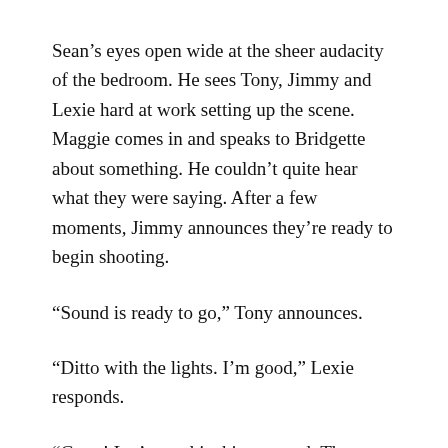Sean’s eyes open wide at the sheer audacity of the bedroom. He sees Tony, Jimmy and Lexie hard at work setting up the scene. Maggie comes in and speaks to Bridgette about something. He couldn’t quite hear what they were saying. After a few moments, Jimmy announces they’re ready to begin shooting.
“Sound is ready to go,” Tony announces.
“Ditto with the lights. I’m good,” Lexie responds.
“Great! Let’s get this thing started. The great thing about reality-based pornography is that